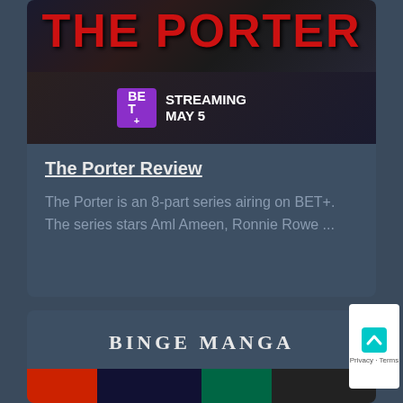[Figure (photo): The Porter TV show promotional banner image with red title text 'THE PORTER' and BET+ logo with 'STREAMING MAY 5' text]
The Porter Review
The Porter is an 8-part series airing on BET+. The series stars Aml Ameen, Ronnie Rowe ...
BINGE MANGA
[Figure (photo): Bottom strip showing manga-related imagery]